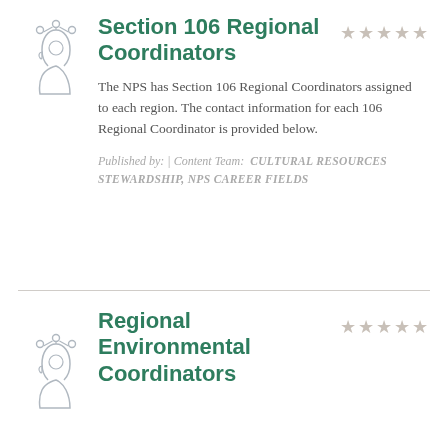[Figure (illustration): Line drawing icon of a human head profile with network nodes above it, suggesting coordination or knowledge management]
Section 106 Regional Coordinators
The NPS has Section 106 Regional Coordinators assigned to each region. The contact information for each 106 Regional Coordinator is provided below.
Published by: | Content Team: CULTURAL RESOURCES STEWARDSHIP, NPS CAREER FIELDS
[Figure (illustration): Line drawing icon of a human head profile with network nodes above it, suggesting coordination or knowledge management]
Regional Environmental Coordinators